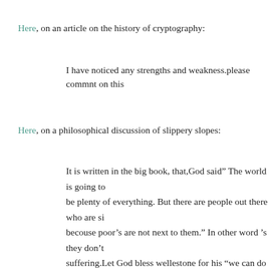Here, on an article on the history of cryptography:
I have noticed any strengths and weakness.please commnt on this
Here, on a philosophical discussion of slippery slopes:
It is written in the big book, that,God said” The world is going to be plenty of everything. But there are people out there who are si… becouse poor’s are not next to them.” In other word ’s they don’t suffering.Let God bless wellestone for his “we can do it” kind of a positivity for every race,including the poor immigerants.If you th… and iraq game is about anything else ,you must be in slippery slop… there is enough money in America today which can make every b… good looking immegrants get rich out there,the ugly’s going to be… can’t compitate any more.“IT is ugly’s world baby” [From “Amba…